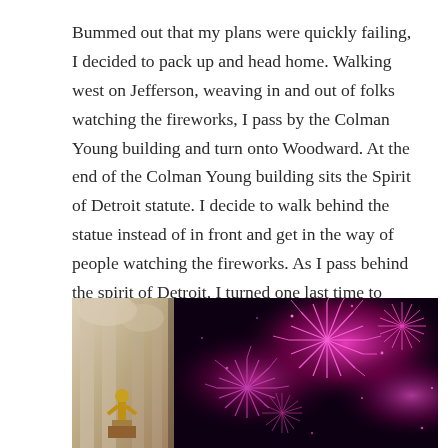Bummed out that my plans were quickly failing, I decided to pack up and head home. Walking west on Jefferson, weaving in and out of folks watching the fireworks, I pass by the Colman Young building and turn onto Woodward. At the end of the Colman Young building sits the Spirit of Detroit statute. I decide to walk behind the statue instead of in front and get in the way of people watching the fireworks. As I pass behind the spirit of Detroit, I turned one last time to view the scene before returning home empty handed and this is what I saw...
[Figure (photo): Two-panel composite image: left panel shows a stone statue (Spirit of Detroit) with a gold figure against a light stone building facade; right panel shows pink/magenta fireworks bursting against a dark night sky.]